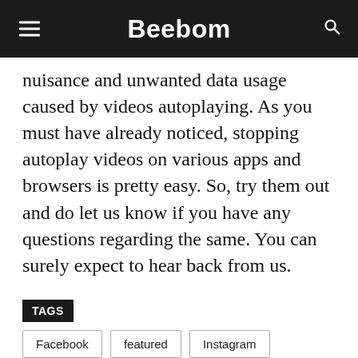Beebom
nuisance and unwanted data usage caused by videos autoplaying. As you must have already noticed, stopping autoplay videos on various apps and browsers is pretty easy. So, try them out and do let us know if you have any questions regarding the same. You can surely expect to hear back from us.
TAGS
Facebook
featured
Instagram
twitter
YouTube
1 Comment